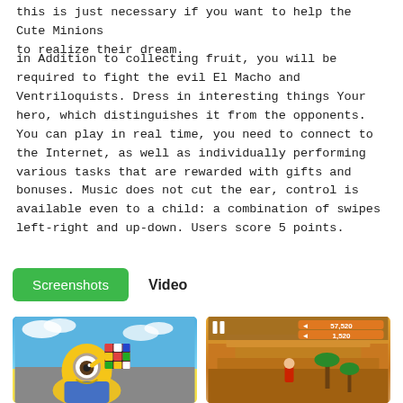this is just necessary if you want to help the Cute Minions to realize their dream.
in Addition to collecting fruit, you will be required to fight the evil El Macho and Ventriloquists. Dress in interesting things Your hero, which distinguishes it from the opponents. You can play in real time, you need to connect to the Internet, as well as individually performing various tasks that are rewarded with gifts and bonuses. Music does not cut the ear, control is available even to a child: a combination of swipes left-right and up-down. Users score 5 points.
Screenshots   Video
[Figure (screenshot): Screenshot of a Minion character holding a Rubik's cube against a blue sky background]
[Figure (screenshot): Screenshot of a desert runner game with pyramid and palm trees, showing score 57,520 and 1,520]